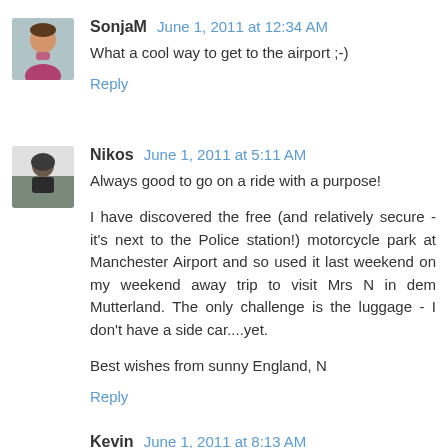SonjaM June 1, 2011 at 12:34 AM
What a cool way to get to the airport ;-)
Reply
Nikos June 1, 2011 at 5:11 AM
Always good to go on a ride with a purpose!
I have discovered the free (and relatively secure - it's next to the Police station!) motorcycle park at Manchester Airport and so used it last weekend on my weekend away trip to visit Mrs N in dem Mutterland. The only challenge is the luggage - I don't have a side car....yet.
Best wishes from sunny England, N
Reply
Kevin June 1, 2011 at 8:13 AM